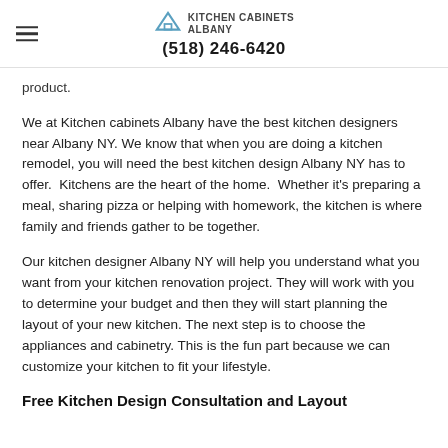Kitchen Cabinets Albany (518) 246-6420
product.
We at Kitchen cabinets Albany have the best kitchen designers near Albany NY. We know that when you are doing a kitchen remodel, you will need the best kitchen design Albany NY has to offer.  Kitchens are the heart of the home.  Whether it's preparing a meal, sharing pizza or helping with homework, the kitchen is where family and friends gather to be together.
Our kitchen designer Albany NY will help you understand what you want from your kitchen renovation project. They will work with you to determine your budget and then they will start planning the layout of your new kitchen. The next step is to choose the appliances and cabinetry. This is the fun part because we can customize your kitchen to fit your lifestyle.
Free Kitchen Design Consultation and Layout